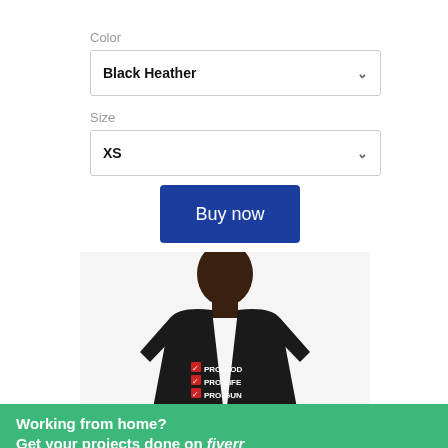Color
Black Heather
Size
XS
Buy now
[Figure (photo): Man wearing a black t-shirt with text PRO-GOD, PRO-LIFE, PRO-GUN with checkboxes]
Working from home? Get your projects done on fiverr